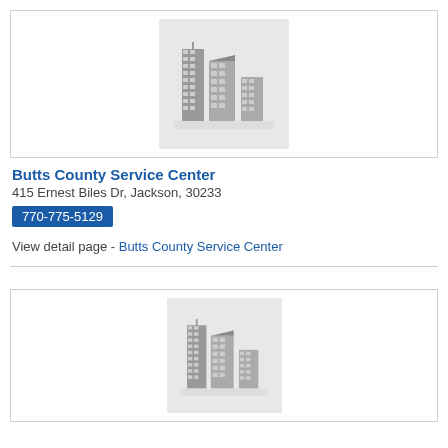[Figure (illustration): Placeholder image showing silhouette of city buildings on gray background]
Butts County Service Center
415 Ernest Biles Dr, Jackson, 30233
770-775-5129
View detail page - Butts County Service Center
[Figure (illustration): Placeholder image showing silhouette of city buildings on gray background]